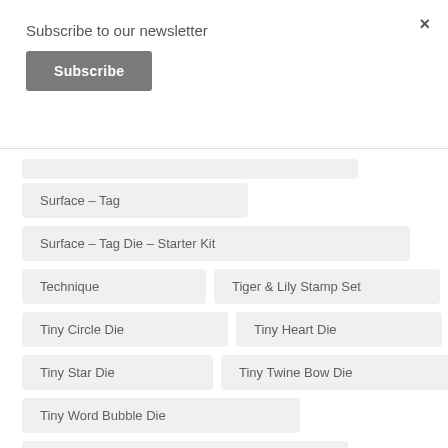×
Subscribe to our newsletter
Subscribe
Surface – Tag
Surface – Tag Die – Starter Kit
Technique
Tiger & Lily Stamp Set
Tiny Circle Die
Tiny Heart Die
Tiny Star Die
Tiny Twine Bow Die
Tiny Word Bubble Die
Tribal Thank You Stamp Set